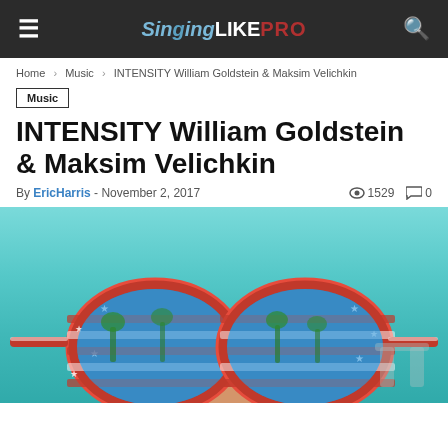SingingLIKEPRO
Home › Music › INTENSITY William Goldstein & Maksim Velichkin
Music
INTENSITY William Goldstein & Maksim Velichkin
By EricHarris - November 2, 2017  1529  0
[Figure (photo): Photograph of American flag-patterned sunglasses held up against a light blue sky/pool background, with palm trees and a resort scene reflected in the lenses.]